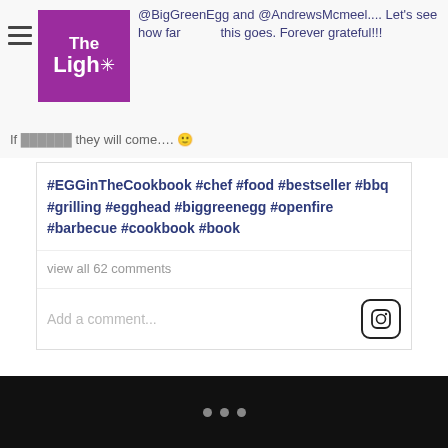[Figure (logo): The Light publication logo — purple square with white text 'The Light' and a snowflake/star symbol]
@BigGreenEgg and @AndrewsMcmeel.... Let's see how far this goes. Forever grateful!!!
If you build it they will come…. 🙂
#EGGinTheCookbook #chef #food #bestseller #bbq #grilling #egghead #biggreenegg #openfire #barbecue #cookbook #book
view all 62 comments
Add a comment...
[Figure (logo): Instagram icon — rounded square outline with circle and dot inside]